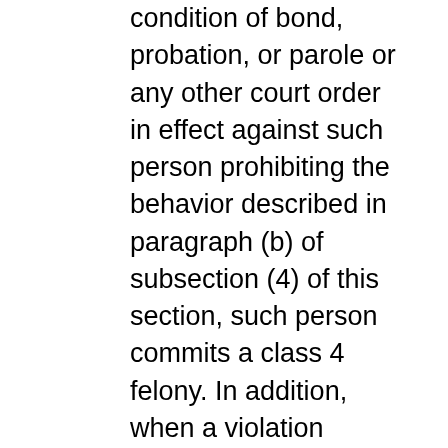condition of bond, probation, or parole or any other court order in effect against such person prohibiting the behavior described in paragraph (b) of subsection (4) of this section, such person commits a class 4 felony. In addition, when a violation under subsection (4) of this section is committed in connection with a violation of a court order, including but not limited to any restraining order or any order that sets forth the conditions of a bond, any sentence imposed for such violation pursuant to this subsection (5) shall run consecutively and not concurrently with any sentence imposed pursuant